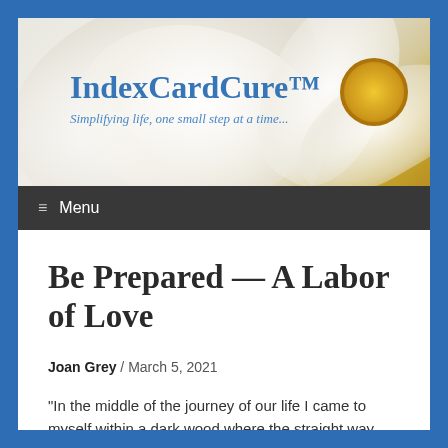[Figure (screenshot): Website header with daisy flower background image showing white petals and yellow center]
IndexCardCure™
Simplifying life, one small step at a time...
≡ Menu
Be Prepared — A Labor of Love
Joan Grey / March 5, 2021
"In the middle of the journey of our life I came to myself within a dark wood where the straight way